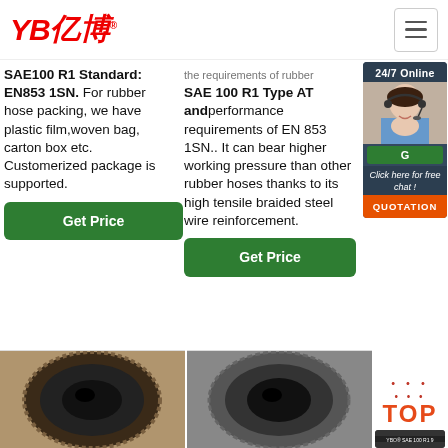[Figure (logo): YB亿博 logo in red italic text with registered trademark symbol]
SAE100 R1 Standard: EN853 1SN. For rubber hose packing, we have plastic film,woven bag, carton box etc. Customerized package is supported.
the requirements of rubber SAE 100 R1 Type AT andperformance requirements of EN 853 1SN.. It can bear higher working pressure than other rubber hoses thanks to its high tensile braided steel wire reinforcement.
[Figure (photo): Customer service representative with headset, 24/7 Online chat box with QUOTATION button]
Get Price
Get Price
[Figure (photo): Close-up photo of rubber hose cross-section showing dark interior]
[Figure (photo): Close-up photo of rubber hose cross-section showing dark interior]
[Figure (illustration): TOP logo with dots above and rubber hose image below labeled YBO SAE 100 R1 9]